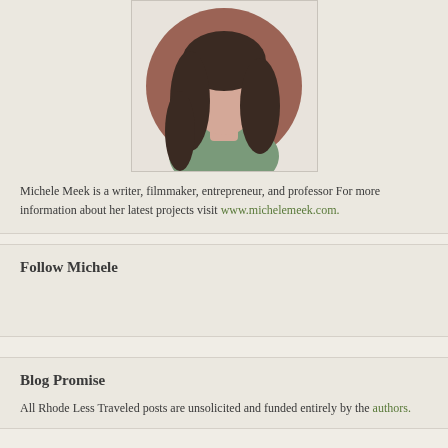[Figure (photo): Circular profile photo of Michele Meek, a woman with long dark hair, wearing a teal/green top, against a brownish-red background]
Michele Meek is a writer, filmmaker, entrepreneur, and professor For more information about her latest projects visit www.michelemeek.com.
Follow Michele
Blog Promise
All Rhode Less Traveled posts are unsolicited and funded entirely by the authors.